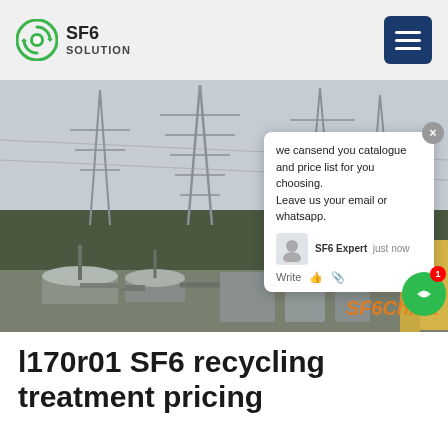SF6 SOLUTION
[Figure (photo): Electrical substation with high-voltage transmission towers and SF6 gas equipment in the foreground. A chat popup overlay is visible on the right side with message: 'we can send you catalogue and price list for you choosing. Leave us your email or whatsapp.' with SF6 Expert agent shown. Watermark reads SF6China.]
l170r01 SF6 recycling treatment pricing